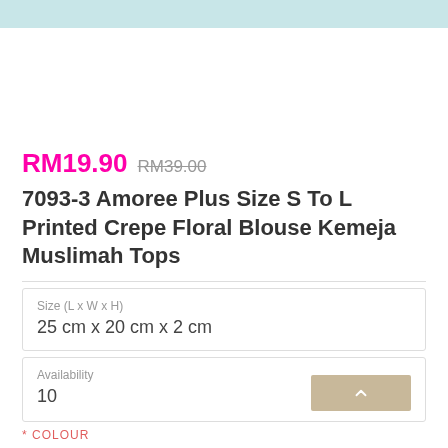[Figure (photo): Product image placeholder at top of page, light blue/teal color]
RM19.90 RM39.00
7093-3 Amoree Plus Size S To L Printed Crepe Floral Blouse Kemeja Muslimah Tops
| Size (L x W x H) |
| --- |
| 25 cm x 20 cm x 2 cm |
| Availability |
| --- |
| 10 |
* COLOUR
BROWN   BLACK